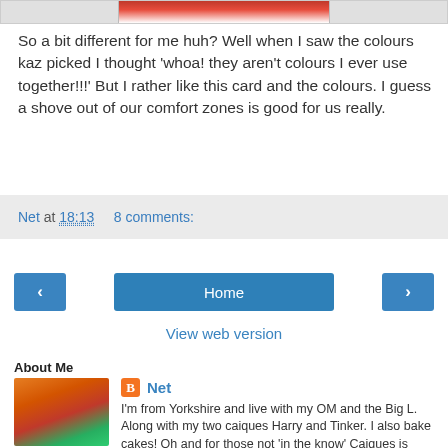[Figure (photo): Top portion of a photo cropped at the top of the page, showing red/white colors]
So a bit different for me huh? Well when I saw the colours kaz picked I thought 'whoa! they aren't colours I ever use together!!!' But I rather like this card and the colours. I guess a shove out of our comfort zones is good for us really.
Net at 18:13   8 comments:
‹   Home   ›
View web version
About Me
[Figure (photo): Profile photo showing two parrots (caiques) cuddling together, in warm orange/green tones]
Net
I'm from Yorkshire and live with my OM and the Big L. Along with my two caiques Harry and Tinker. I also bake cakes! Oh and for those not 'in the know' Caiques is pronounced now you'll like this ... C A K E S!